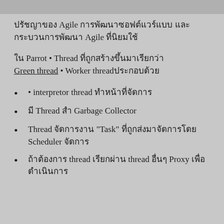ปรัชญาของ Agile การพัฒนาซอฟต์แวร์แบบ และ กระบวนการพัฒนา Agile ที่นิยมใช้
ใน Parrot • Thread ที่ถูกสร้างขึ้นมาเรียกว่า Green thread • Worker threadประกอบด้วย
• interpretor thread ทำหน้าที่จัดการ
• มี Thread สำ Garbage Collector
Thread จัดการงาน "Task" ที่ถูกส่งมาจัดการโดย Scheduler จัดการ
ถ้าต้องการ thread เรียกผ่าน thread อื่นๆ Proxy เพื่อ ดำเนินการ